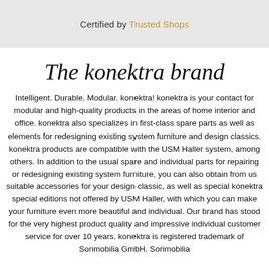Certified by Trusted Shops
The konektra brand
Intelligent. Durable. Modular. konektra! konektra is your contact for modular and high-quality products in the areas of home interior and office. konektra also specializes in first-class spare parts as well as elements for redesigning existing system furniture and design classics. konektra products are compatible with the USM Haller system, among others. In addition to the usual spare and individual parts for repairing or redesigning existing system furniture, you can also obtain from us suitable accessories for your design classic, as well as special konektra special editions not offered by USM Haller, with which you can make your furniture even more beautiful and individual. Our brand has stood for the very highest product quality and impressive individual customer service for over 10 years. konektra is registered trademark of Sorimobilia GmbH. Sorimobilia...